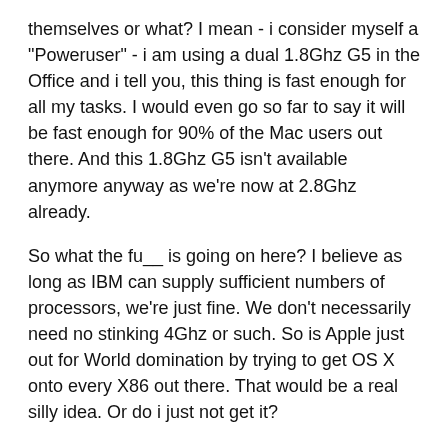themselves or what? I mean - i consider myself a "Poweruser" - i am using a dual 1.8Ghz G5 in the Office and i tell you, this thing is fast enough for all my tasks. I would even go so far to say it will be fast enough for 90% of the Mac users out there. And this 1.8Ghz G5 isn't available anymore anyway as we're now at 2.8Ghz already.
So what the fu__ is going on here? I believe as long as IBM can supply sufficient numbers of processors, we're just fine. We don't necessarily need no stinking 4Ghz or such. So is Apple just out for World domination by trying to get OS X onto every X86 out there. That would be a real silly idea. Or do i just not get it?
See also: this
Posted in: Apple by seiz | Comments (0)